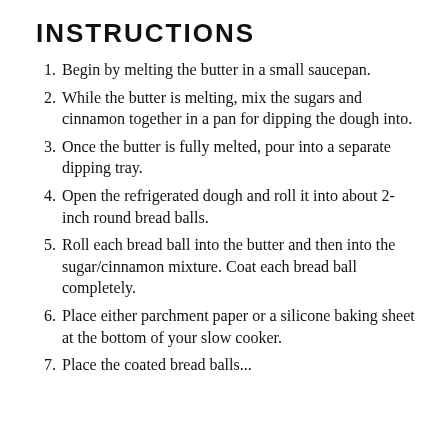INSTRUCTIONS
Begin by melting the butter in a small saucepan.
While the butter is melting, mix the sugars and cinnamon together in a pan for dipping the dough into.
Once the butter is fully melted, pour into a separate dipping tray.
Open the refrigerated dough and roll it into about 2-inch round bread balls.
Roll each bread ball into the butter and then into the sugar/cinnamon mixture. Coat each bread ball completely.
Place either parchment paper or a silicone baking sheet at the bottom of your slow cooker.
Place the coated bread balls...